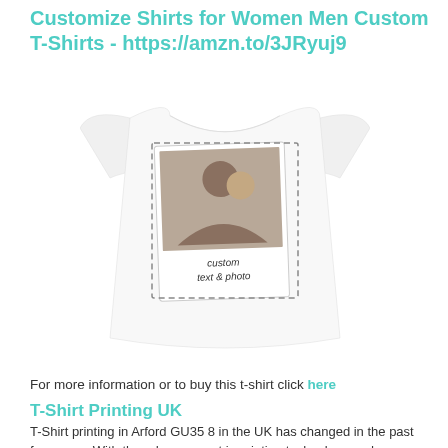Customize Shirts for Women Men Custom T-Shirts - https://amzn.to/3JRyuj9
[Figure (photo): White custom t-shirt with a polaroid-style photo of a couple printed on the front, surrounded by a dashed border area labeled 'custom text & photo']
For more information or to buy this t-shirt click here
T-Shirt Printing UK
T-Shirt printing in Arford GU35 8 in the UK has changed in the past few years. With the advancement in printing technology and